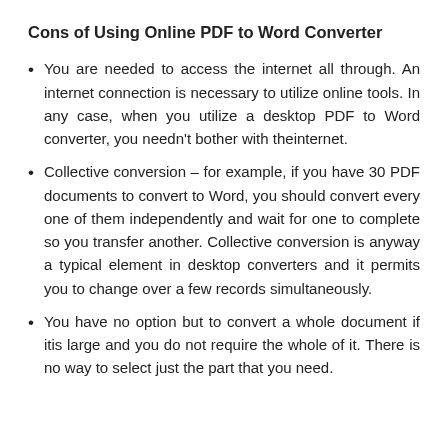Cons of Using Online PDF to Word Converter
You are needed to access the internet all through. An internet connection is necessary to utilize online tools. In any case, when you utilize a desktop PDF to Word converter, you needn't bother with theinternet.
Collective conversion – for example, if you have 30 PDF documents to convert to Word, you should convert every one of them independently and wait for one to complete so you transfer another. Collective conversion is anyway a typical element in desktop converters and it permits you to change over a few records simultaneously.
You have no option but to convert a whole document if itis large and you do not require the whole of it. There is no way to select just the part that you need.